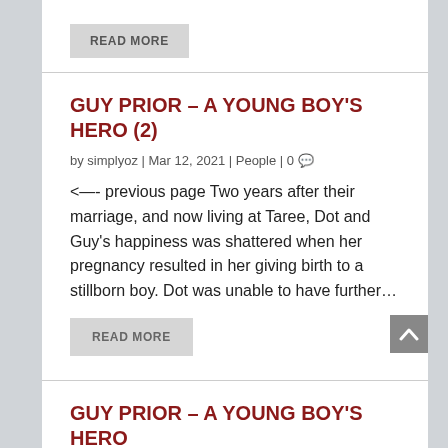READ MORE
GUY PRIOR – A YOUNG BOY'S HERO (2)
by simplyoz | Mar 12, 2021 | People | 0
<—- previous page Two years after their marriage, and now living at Taree, Dot and Guy's happiness was shattered when her pregnancy resulted in her giving birth to a stillborn boy. Dot was unable to have further…
READ MORE
GUY PRIOR – A YOUNG BOY'S HERO